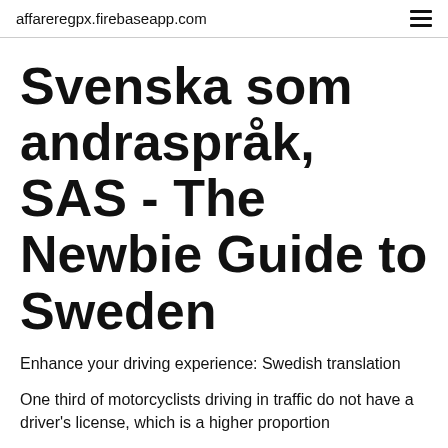affareregpx.firebaseapp.com
Svenska som andraspråk, SAS - The Newbie Guide to Sweden
Enhance your driving experience: Swedish translation
One third of motorcyclists driving in traffic do not have a driver's license, which is a higher proportion